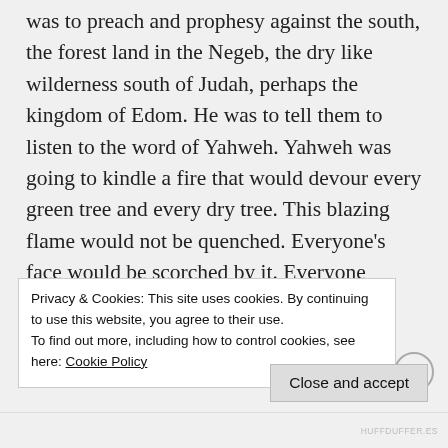was to preach and prophesy against the south, the forest land in the Negeb, the dry like wilderness south of Judah, perhaps the kingdom of Edom. He was to tell them to listen to the word of Yahweh. Yahweh was going to kindle a fire that would devour every green tree and every dry tree. This blazing flame would not be quenched. Everyone's face would be scorched by it. Everyone would know that Yahweh set this unquenchable fire. This section is the first part of the next chapter in the Jerusalem
Privacy & Cookies: This site uses cookies. By continuing to use this website, you agree to their use.
To find out more, including how to control cookies, see here: Cookie Policy
Close and accept